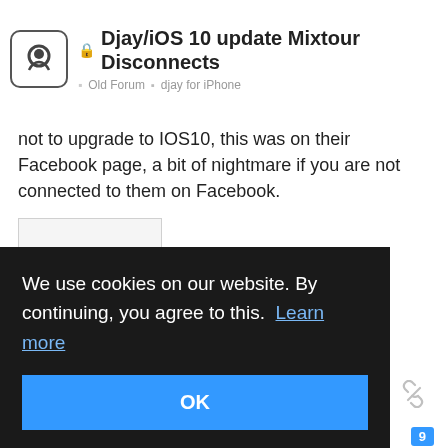Djay/iOS 10 update Mixtour Disconnects — Old Forum > djay for iPhone
not to upgrade to IOS10, this was on their Facebook page, a bit of nightmare if you are not connected to them on Facebook.
[Figure (other): Broken image placeholder box with unlink/broken-chain icon]
RichardHouse Sep '16
how I'm easy as
We use cookies on our website. By continuing, you agree to this. Learn more
OK